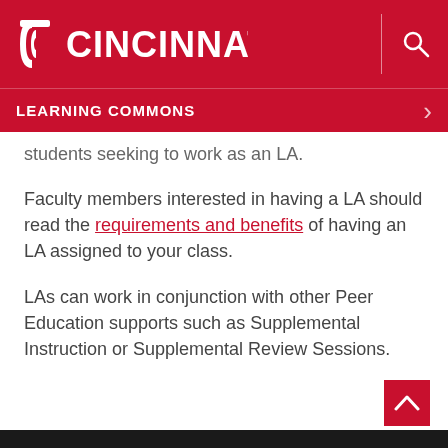UC CINCINNATI
LEARNING COMMONS
students seeking to work as an LA.
Faculty members interested in having a LA should read the requirements and benefits of having an LA assigned to your class.
LAs can work in conjunction with other Peer Education supports such as Supplemental Instruction or Supplemental Review Sessions.